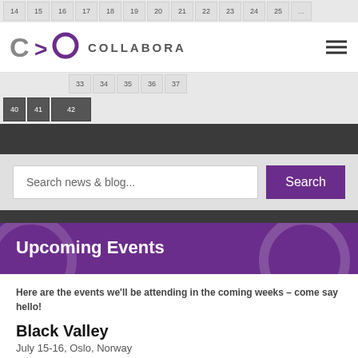14 15 16 17 18 19 20 21 22 23 24 25
[Figure (logo): Collabora logo: C>O symbol with COLLABORA text]
33 34 35 36 37
40 41 42
Search news & blog...
Search
Upcoming Events
Here are the events we'll be attending in the coming weeks – come say hello!
Black Valley
July 15-16, Oslo, Norway
DebConf